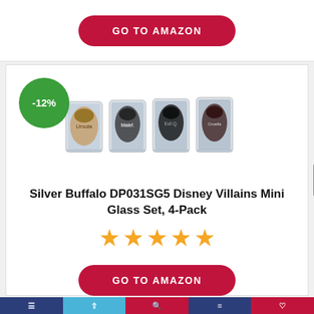[Figure (other): Red rounded 'GO TO AMAZON' button at top of page]
[Figure (photo): Four Disney Villains mini shot glasses with character artwork: Ursula, Maleficent, Evil Queen, and Cruella de Vil]
[Figure (other): Green circular badge showing -12% discount]
Silver Buffalo DP031SG5 Disney Villains Mini Glass Set, 4-Pack
[Figure (other): 5 orange star rating icons]
[Figure (other): Red rounded 'GO TO AMAZON' button]
Navigation bar with home, share, search, and menu icons